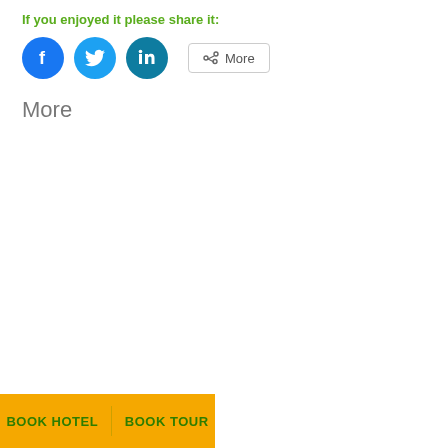If you enjoyed it please share it:
[Figure (infographic): Social share buttons: Facebook (blue circle), Twitter (light blue circle), LinkedIn (teal circle), and a More button with share icon]
More
BOOK HOTEL   BOOK TOUR